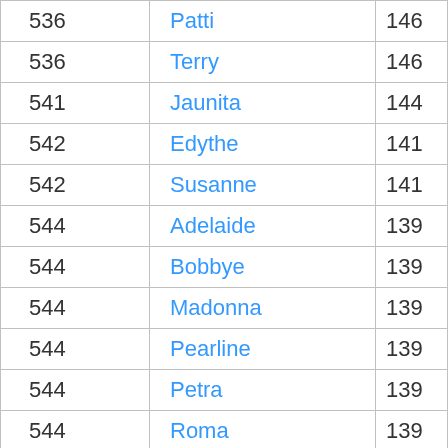| 536 | Patti | 146 |
| 536 | Terry | 146 |
| 541 | Jaunita | 144 |
| 542 | Edythe | 141 |
| 542 | Susanne | 141 |
| 544 | Adelaide | 139 |
| 544 | Bobbye | 139 |
| 544 | Madonna | 139 |
| 544 | Pearline | 139 |
| 544 | Petra | 139 |
| 544 | Roma | 139 |